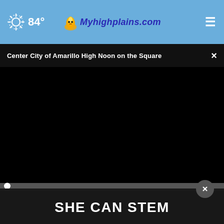84° Myhighplains.com
Center City of Amarillo High Noon on the Square
[Figure (screenshot): Embedded video player showing a black screen (video not playing), with a progress bar at 0:00 and media controls (play, mute, time 00:00, captions, fullscreen) at the bottom.]
[Figure (photo): Partial view of an outdoor scene visible below the video player, showing green and teal containers or bins.]
Drink This Before Bed and Drop Body Weight Like Crazy
Health
[Figure (infographic): Dark advertisement banner overlay reading 'SHE CAN STEM' in large bold white text, with a close (X) button on the upper right.]